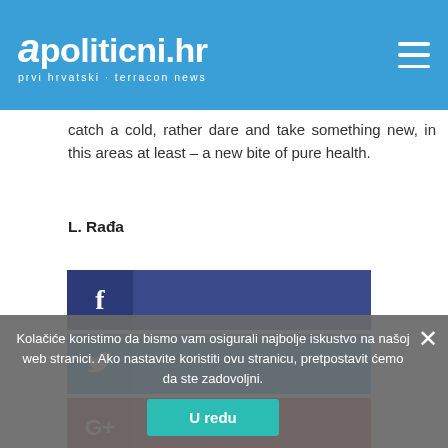apoliticni.hr prvi hrvatski · terracon news
catch a cold, rather dare and take something new, in this areas at least – a new bite of pure health.
L. Rađa
[Figure (other): Facebook share button (dark blue with f icon)]
[Figure (other): Twitter share button (light blue with bird icon)]
[Figure (other): Google+ share button (red with G+ icon)]
Kolačiće koristimo da bismo vam osigurali najbolje iskustvo na našoj web stranici. Ako nastavite koristiti ovu stranicu, pretpostavit ćemo da ste zadovoljni.
U redu